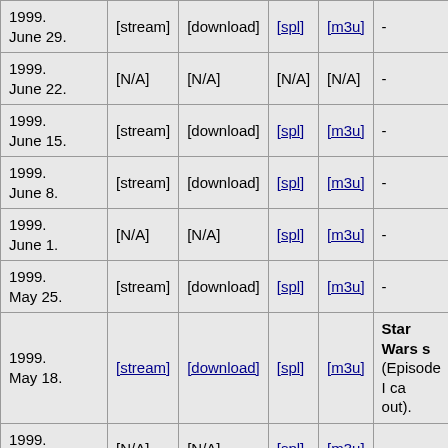| Date | Stream | Download | SPL | M3U | Notes |
| --- | --- | --- | --- | --- | --- |
| 1999. June 29. | [stream] | [download] | [spl] | [m3u] | - |
| 1999. June 22. | [N/A] | [N/A] | [N/A] | [N/A] | - |
| 1999. June 15. | [stream] | [download] | [spl] | [m3u] | - |
| 1999. June 8. | [stream] | [download] | [spl] | [m3u] | - |
| 1999. June 1. | [N/A] | [N/A] | [spl] | [m3u] | - |
| 1999. May 25. | [stream] | [download] | [spl] | [m3u] | - |
| 1999. May 18. | [stream] | [download] | [spl] | [m3u] | Star Wars s (Episode I ca out). |
| 1999. May 11. | [N/A] | [N/A] | [spl] | [m3u] | - |
| 1999. May 4. | [N/A] | [N/A] | [spl] | [m3u] | - |
| 1999. April 27. | [N/A] | [N/A] | [N/A] | [N/A] | - |
| 1999. | [N/A] | [N/A] | [spl] | [m3u] |  |